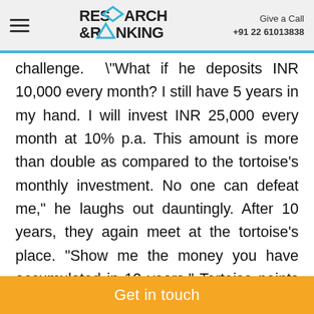Research & Ranking | Give a Call +91 22 61013838
challenge. "What if he deposits INR 10,000 every month? I still have 5 years in my hand. I will invest INR 25,000 every month at 10% p.a. This amount is more than double as compared to the tortoise's monthly investment. No one can defeat me," he laughs out dauntingly. After 10 years, they again meet at the tortoise's place. "Show me the money you have accumulated in 10 years." Tortoise points towards the bag containing INR 20,55,685. Stunned and
Get in touch